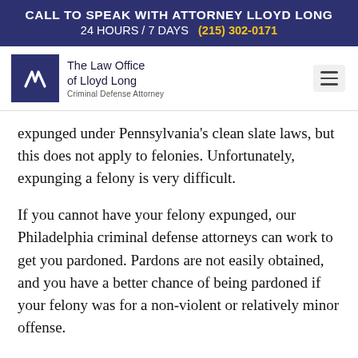CALL TO SPEAK WITH ATTORNEY LLOYD LONG
24 HOURS / 7 DAYS  (215) 302-0171
[Figure (logo): The Law Office of Lloyd Long - Criminal Defense Attorney logo with navy blue square icon containing a stylized letter mark]
expunged under Pennsylvania’s clean slate laws, but this does not apply to felonies. Unfortunately, expunging a felony is very difficult.
If you cannot have your felony expunged, our Philadelphia criminal defense attorneys can work to get you pardoned. Pardons are not easily obtained, and you have a better chance of being pardoned if your felony was for a non-violent or relatively minor offense.